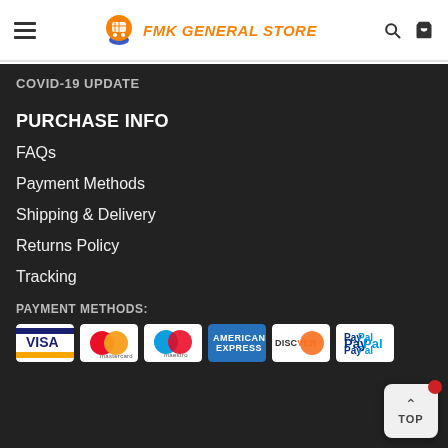FMK GENERAL STORE
COVID-19 UPDATE
PURCHASE INFO
FAQs
Payment Methods
Shipping & Delivery
Returns Policy
Tracking
PAYMENT METHODS:
[Figure (logo): Payment method logos: Visa, Mastercard, Maestro, American Express, Discover, PayPal]